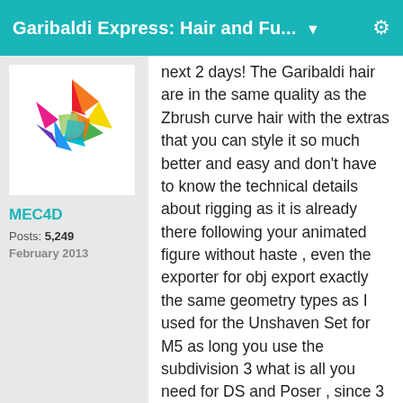Garibaldi Express: Hair and Fu... ▼
[Figure (logo): Colorful multi-colored geometric logo resembling overlapping paper/leaves in rainbow colors]
MEC4D
Posts: 5,249
February 2013
next 2 days! The Garibaldi hair are in the same quality as the Zbrush curve hair with the extras that you can style it so much better and easy and don't have to know the technical details about rigging as it is already there following your animated figure without haste , even the exporter for obj export exactly the same geometry types as I used for the Unshaven Set for M5 as long you use the subdivision 3 what is all you need for DS and Poser , since 3 faces are more than enough to look nice,